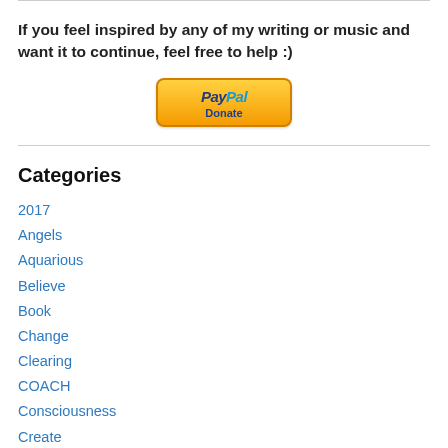If you feel inspired by any of my writing or music and want it to continue, feel free to help :)
[Figure (logo): PayPal Donate button with gold/yellow gradient background and PayPal branding]
Categories
2017
Angels
Aquarious
Believe
Book
Change
Clearing
COACH
Consciousness
Create